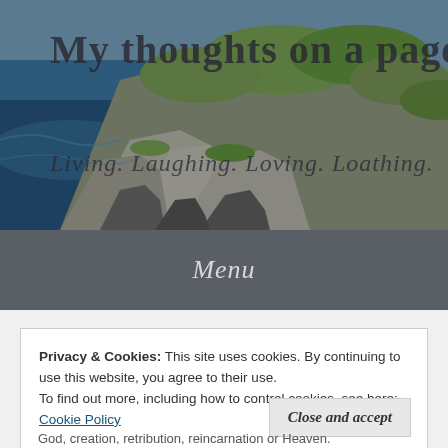[Figure (photo): Coastal landscape with rocky cliffs, green hillside vegetation, and blue ocean water in the background, serving as a blog header image]
My thoughts on a page.
Living. Laughing. Loving. Loathing.
Menu
Privacy & Cookies: This site uses cookies. By continuing to use this website, you agree to their use.
To find out more, including how to control cookies, see here: Cookie Policy
God, creation, retribution, reincarnation or Heaven.